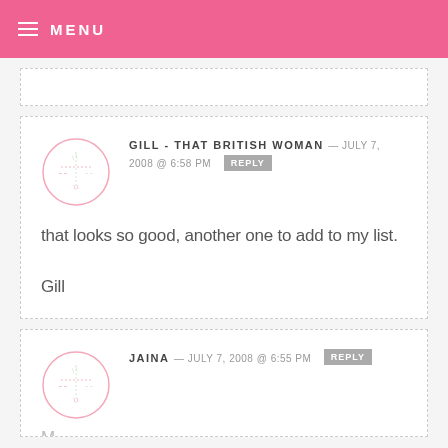MENU
GILL - THAT BRITISH WOMAN — JULY 7, 2008 @ 6:58 PM REPLY
that looks so good, another one to add to my list.
Gill
JAINA — JULY 7, 2008 @ 6:55 PM REPLY